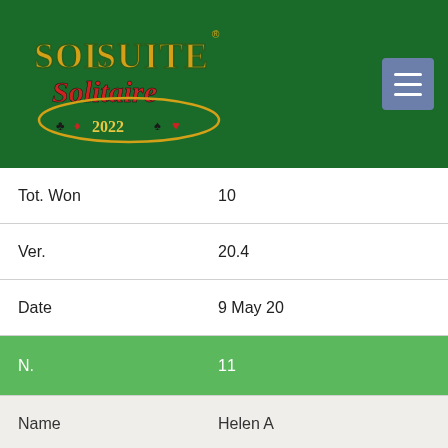[Figure (logo): SolSuite Solitaire 2022 logo with card suit symbols on dark green background, with hamburger menu button top right]
| Tot. Won | 10 |
| Ver. | 20.4 |
| Date | 9 May 20 |
| N. | 11 |
| Name | Helen A |
| Flag | 🇺🇸 |
| Country | USA | United States of America |